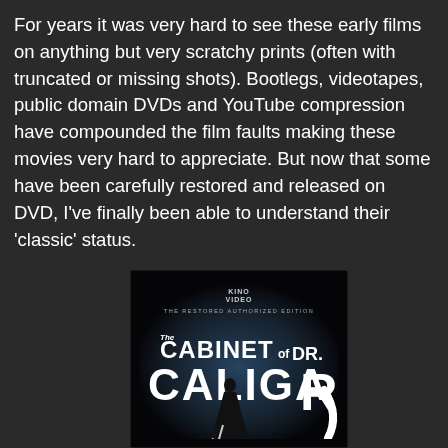For years it was very hard to see these early films on anything but very scratchy prints (often with truncated or missing shots). Bootlegs, videotapes, public domain DVDs and YouTube compression have compounded the film faults making these movies very hard to appreciate. But now that some have been carefully restored and released on DVD, I've finally been able to understand their 'classic' status.
[Figure (photo): DVD cover of 'The Cabinet of Dr. Caligari' - Kino Video The Restored Authorized Edition. Large stylized white text on dark background with a figure of a man in dark clothing standing dramatically.]